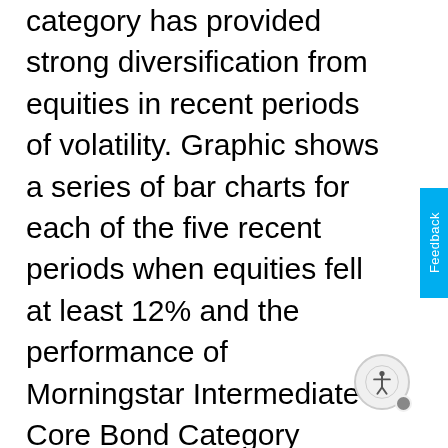category has provided strong diversification from equities in recent periods of volatility. Graphic shows a series of bar charts for each of the five recent periods when equities fell at least 12% and the performance of Morningstar Intermediate Core Bond Category Average, Morningstar Intermediate Core-Plus Category Average, Morningstar Multisector Bond Category Average and the S&P 500 Index, respectively. The Core category contains portfolios that invest primarily in investment-grade U.S. fixed-income issues and hold less than 5% in below